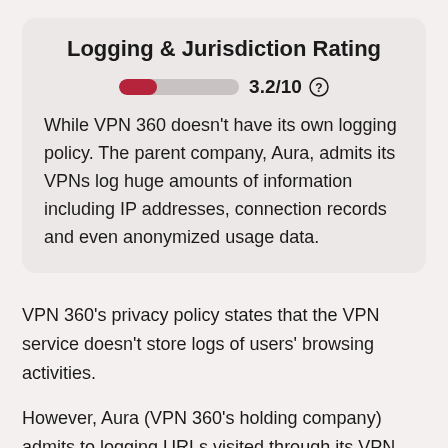Logging & Jurisdiction Rating
[Figure (infographic): A horizontal rating bar partially filled in dark red showing 3.2/10 with a help circle icon]
While VPN 360 doesn't have its own logging policy. The parent company, Aura, admits its VPNs log huge amounts of information including IP addresses, connection records and even anonymized usage data.
VPN 360's privacy policy states that the VPN service doesn't store logs of users' browsing activities.
However, Aura (VPN 360's holding company) admits to logging URLs visited through its VPN servers – but not in combination with anything that identifies an